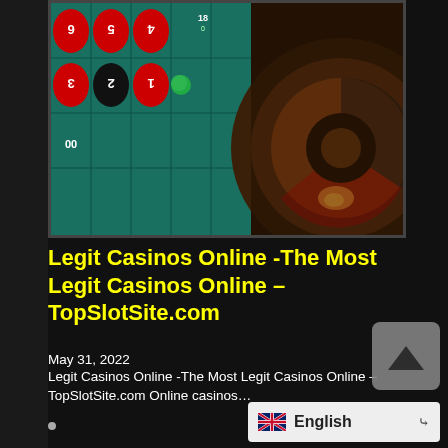[Figure (photo): Roulette table and wheel photo from above showing numbered slots with red and black circles, and the wooden roulette wheel]
Legit Casinos Online -The Most Legit Casinos Online – TopSlotSite.com
May 31, 2022
Legit Casinos Online -The Most Legit Casinos Online – TopSlotSite.com Online casinos…